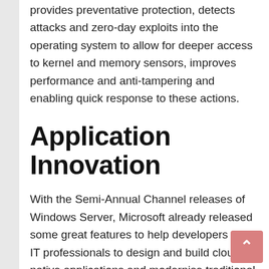Windows defender advanced threat protection provides preventative protection, detects attacks and zero-day exploits into the operating system to allow for deeper access to kernel and memory sensors, improves performance and anti-tampering and enabling quick response to these actions.
Application Innovation
With the Semi-Annual Channel releases of Windows Server, Microsoft already released some great features to help developers and IT professionals to design and build cloud-native applications and modernise traditional applications using containers and micro-